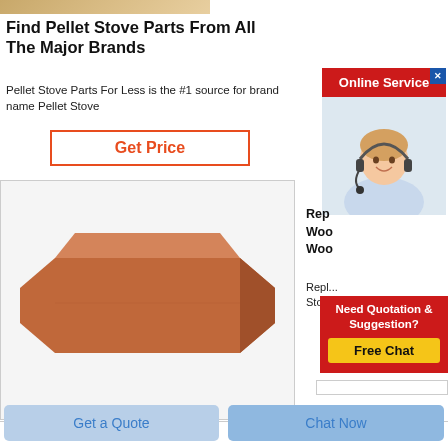[Figure (photo): Tan/beige image strip at top, partial photo of wood or stone surface]
Find Pellet Stove Parts From All The Major Brands
Pellet Stove Parts For Less is the #1 source for brand name Pellet Stove
Get Price
[Figure (photo): A brown/terracotta colored rectangular firebrick on a white/light gray background]
[Figure (screenshot): Online Service advertisement banner with red header and photo of a woman with headset smiling]
Rep
Woo
Woo
Repl...
Stove...
Need Quotation & Suggestion?
Free Chat
Get a Quote
Chat Now